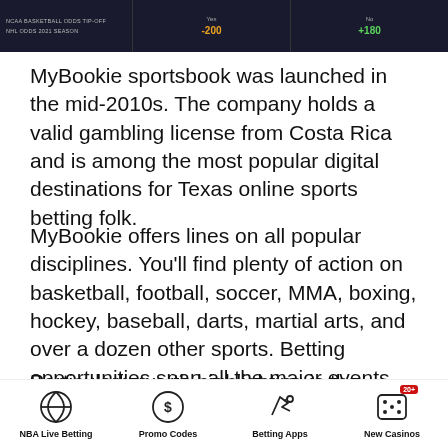[Figure (screenshot): MyBookie sportsbook interface showing NCAA Basketball Odds Tip-Off and NHL Odds 2021 Season with Yes (-200) and No (+180) columns]
MyBookie sportsbook was launched in the mid-2010s. The company holds a valid gambling license from Costa Rica and is among the most popular digital destinations for Texas online sports betting folk.
MyBookie offers lines on all popular disciplines. You'll find plenty of action on basketball, football, soccer, MMA, boxing, hockey, baseball, darts, martial arts, and over a dozen other sports. Betting opportunities span all the major events, including the NBA, PBA, NBL, and NFL, as well as minor exotic competitions. If you've heard of it, it's probably available at MyBookie.
Particularly worth highlighting is the bookmaker's League
NBA Live Betting | Promo Codes | Betting Apps | New Casinos